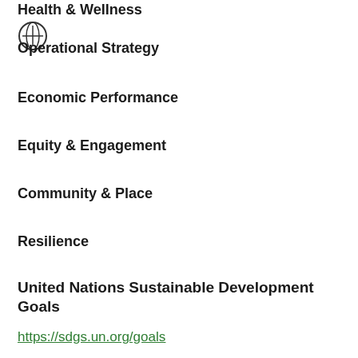Health & Wellness
Operational Strategy
Economic Performance
Equity & Engagement
Community & Place
Resilience
United Nations Sustainable Development Goals
https://sdgs.un.org/goals